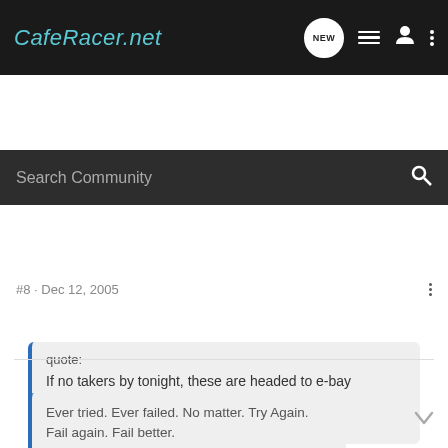CafeRacer.net
Search Community
#8 · Dec 12, 2005
quote:
If no takers by tonight, these are headed to e-bay tomorrow.
Cheers, Bret
Are you sure the 37mm unknown clip-ons are 37mm? I have the same looking set on a bike with 36mm forks (kawasaki h1) and I need a set for my goldwing front ended cb750 (37mm forks). I'll try the set I have on my 37mm forks tonight when I get home and if they work I'll take them off your hands.
Ever tried. Ever failed. No matter. Try Again. Fail again. Fail better.